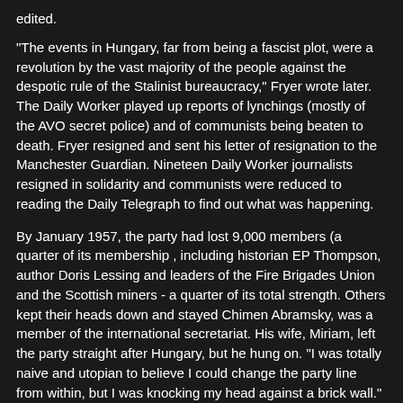edited.
"The events in Hungary, far from being a fascist plot, were a revolution by the vast majority of the people against the despotic rule of the Stalinist bureaucracy," Fryer wrote later. The Daily Worker played up reports of lynchings (mostly of the AVO secret police) and of communists being beaten to death. Fryer resigned and sent his letter of resignation to the Manchester Guardian. Nineteen Daily Worker journalists resigned in solidarity and communists were reduced to reading the Daily Telegraph to find out what was happening.
By January 1957, the party had lost 9,000 members (a quarter of its membership , including historian EP Thompson, author Doris Lessing and leaders of the Fire Brigades Union and the Scottish miners - a quarter of its total strength. Others kept their heads down and stayed Chimen Abramsky, was a member of the international secretariat. His wife, Miriam, left the party straight after Hungary, but he hung on. "I was totally naive and utopian to believe I could change the party line from within, but I was knocking my head against a brick wall." Abramsky left in